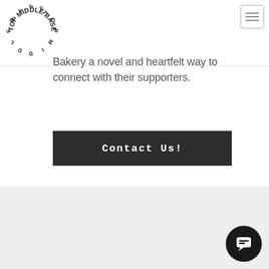[Figure (logo): Circular logo with letters arranged in a circle reading TOP MIDDLE BASE around the perimeter, black letters on white background]
[Figure (other): Small square navigation icon with border in top-right corner]
Bakery a novel and heartfelt way to connect with their supporters.
[Figure (other): Dark grey/black rectangular button with white bold monospace text 'Contact Us!']
[Figure (other): Light beige/grey area forming the bottom section of the page, with a circular black chat button in the bottom-right corner containing a white chat bubble icon]